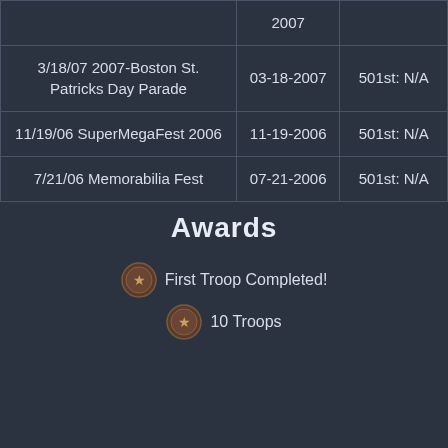| Event | Date | Unit |
| --- | --- | --- |
|  | 2007 |  |
| 3/18/07 2007-Boston St. Patricks Day Parade | 03-18-2007 | 501st: N/A |
| 11/19/06 SuperMegaFest 2006 | 11-19-2006 | 501st: N/A |
| 7/21/06 Memorabilia Fest | 07-21-2006 | 501st: N/A |
Awards
First Troop Completed!
10 Troops